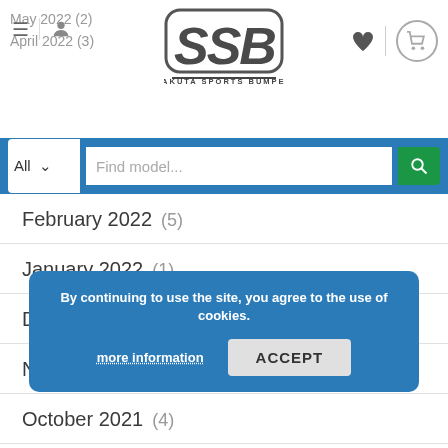[Figure (logo): SSB Sakuta Sports Bumper logo with stylized SSB text and brand name below]
May 2022 (2)
April 2022 (3)
Find model...
February 2022 (5)
January 2022 (1)
December 2021 (6)
November 2021 (4)
October 2021 (4)
September 2021 (2)
August 2021 (2)
July 2021 (2)
June 2021 (4)
By continuing to use the site, you agree to the use of cookies.
more information
ACCEPT